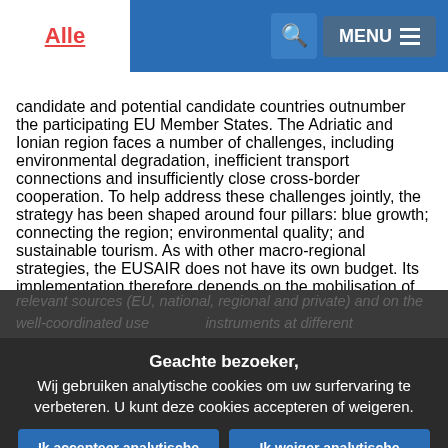Alle | MENU
candidate and potential candidate countries outnumber the participating EU Member States. The Adriatic and Ionian region faces a number of challenges, including environmental degradation, inefficient transport connections and insufficiently close cross-border cooperation. To help address these challenges jointly, the strategy has been shaped around four pillars: blue growth; connecting the region; environmental quality; and sustainable tourism. As with other macro-regional strategies, the EUSAIR does not have its own budget. Its implementation therefore depends on the mobilisation of funds from other
Geachte bezoeker, Wij gebruiken analytische cookies om uw surfervaring te verbeteren. U kunt deze cookies accepteren of weigeren. Ik accepteer analytische cookies | Ik weiger analytische cookies. Nadere informatie over andere cookies en serverlogs die we gebruiken kunt u vinden in ons gegevensbeschermingsbeleid , ons cookiebeleid en onze lijst van cookies.